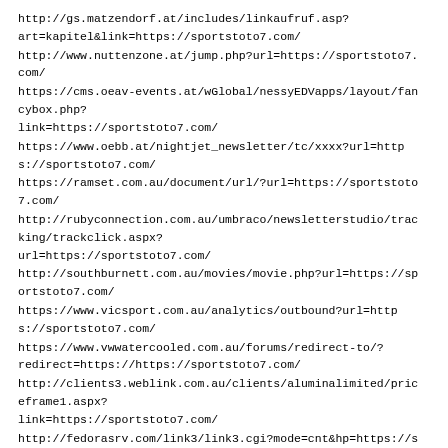http://gs.matzendorf.at/includes/linkaufruf.asp?art=kapitel&link=https://sportstoto7.com/
http://www.nuttenzone.at/jump.php?url=https://sportstoto7.com/
https://cms.oeav-events.at/wGlobal/nessyEDVapps/layout/fancybox.php?link=https://sportstoto7.com/
https://www.oebb.at/nightjet_newsletter/tc/xxxx?url=https://sportstoto7.com/
https://ramset.com.au/document/url/?url=https://sportstoto7.com/
http://rubyconnection.com.au/umbraco/newsletterstudio/tracking/trackclick.aspx?url=https://sportstoto7.com/
http://southburnett.com.au/movies/movie.php?url=https://sportstoto7.com/
https://www.vicsport.com.au/analytics/outbound?url=https://sportstoto7.com/
https://www.vwwatercooled.com.au/forums/redirect-to/?redirect=https://https://sportstoto7.com/
http://clients3.weblink.com.au/clients/aluminalimited/priceframe1.aspx?link=https://sportstoto7.com/
http://fedorasrv.com/link3/link3.cgi?mode=cnt&hp=https://sportstoto7.com/
http://www.rss.geodles.com/fwd.php?url=https://sportstoto7.com/
http://imperialoptical.com/news-redirect.aspx?url=https://sportstoto7.com/
http://cms.nam.org.uk/Aggregator.ashx?url=http://blog1casino.xyz/index.php/2022/08/27/super-bowl-2023-props-you-need-to-bet-on-now/
https://www.viecngay.vn/go?to=http://blog1casino.xyz/index.php/2022/08/27/super-bowl-2023-props-you